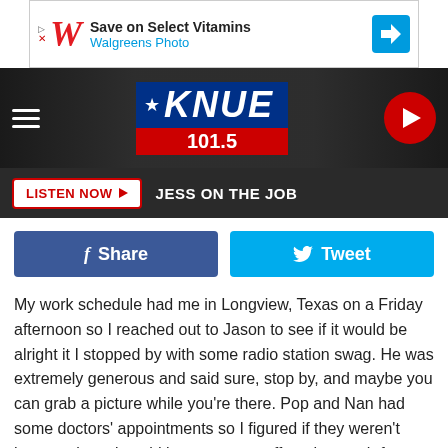[Figure (screenshot): Walgreens ad banner: Save on Select Vitamins - Walgreens Photo]
[Figure (logo): KNUE 101.5 radio station logo with hamburger menu and play button]
LISTEN NOW ▶  JESS ON THE JOB
[Figure (infographic): Share and Tweet social media buttons]
My work schedule had me in Longview, Texas on a Friday afternoon so I reached out to Jason to see if it would be alright it I stopped by with some radio station swag. He was extremely generous and said sure, stop by, and maybe you can grab a picture while you're there. Pop and Nan had some doctors' appointments so I figured if they weren't home at least I could leave some stuff on the porch for them.
Pop and Nan Just Got Home as I Got to Their